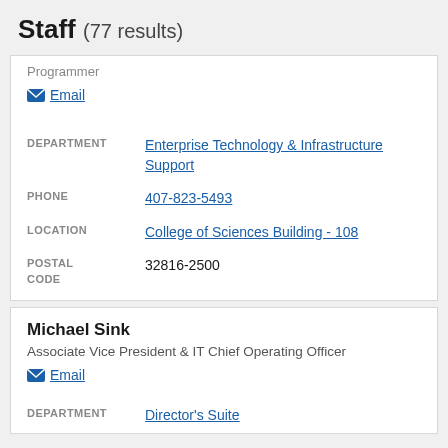Staff (77 results)
Programmer
Email
| Field | Value |
| --- | --- |
| DEPARTMENT | Enterprise Technology & Infrastructure Support |
| PHONE | 407-823-5493 |
| LOCATION | College of Sciences Building - 108 |
| POSTAL CODE | 32816-2500 |
Michael Sink
Associate Vice President & IT Chief Operating Officer
Email
DEPARTMENT Director's Suite